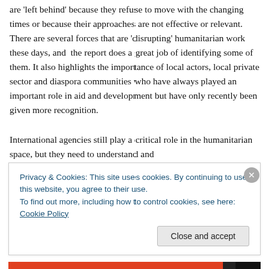are 'left behind' because they refuse to move with the changing times or because their approaches are not effective or relevant. There are several forces that are 'disrupting' humanitarian work these days, and the report does a great job of identifying some of them. It also highlights the importance of local actors, local private sector and diaspora communities who have always played an important role in aid and development but have only recently been given more recognition.
International agencies still play a critical role in the humanitarian space, but they need to understand and
Privacy & Cookies: This site uses cookies. By continuing to use this website, you agree to their use.
To find out more, including how to control cookies, see here: Cookie Policy